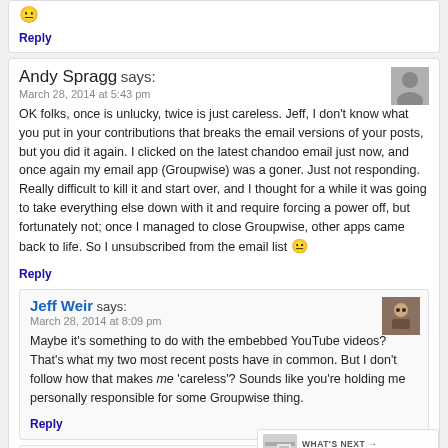😐
Reply
Andy Spragg says:
March 28, 2014 at 5:43 pm
OK folks, once is unlucky, twice is just careless. Jeff, I don't know what you put in your contributions that breaks the email versions of your posts, but you did it again. I clicked on the latest chandoo email just now, and once again my email app (Groupwise) was a goner. Just not responding. Really difficult to kill it and start over, and I thought for a while it was going to take everything else down with it and require forcing a power off, but fortunately not; once I managed to close Groupwise, other apps came back to life. So I unsubscribed from the email list 😐
Reply
Jeff Weir says:
March 28, 2014 at 8:09 pm
Maybe it's something to do with the embebbed YouTube videos? That's what my two most recent posts have in common. But I don't follow how that makes me 'careless'? Sounds like you're holding me personally responsible for some Groupwise thing.
Reply
Sally says:
March 31, 2014 at 9:09 pm
I've had the same thing happen in the last two emails.
WHAT'S NEXT → How to show Indian...